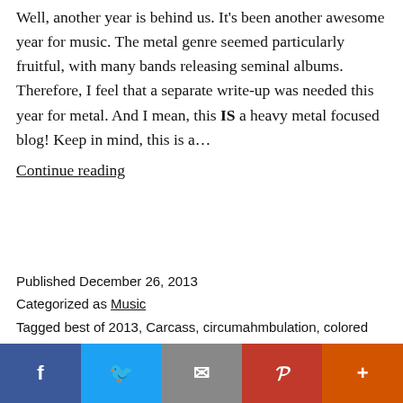Well, another year is behind us. It's been another awesome year for music. The metal genre seemed particularly fruitful, with many bands releasing seminal albums. Therefore, I feel that a separate write-up was needed this year for metal. And I mean, this IS a heavy metal focused blog! Keep in mind, this is a… Continue reading
Published December 26, 2013
Categorized as Music
Tagged best of 2013, Carcass, circumahmbulation, colored
[Figure (infographic): Social media share bar with buttons for Facebook (blue), Twitter (light blue), Email (gray), Pinterest (red), and More/Plus (orange-red)]